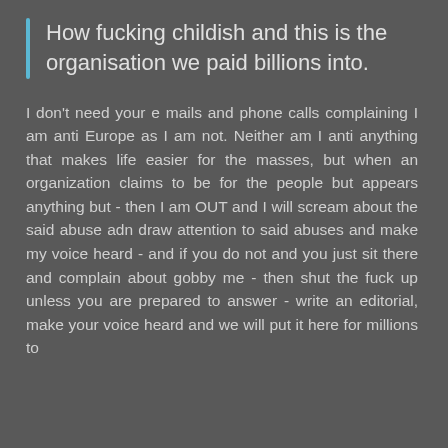How fucking childish and this is the organisation we paid billions into.
I don't need your e mails and phone calls complaining I am anti Europe as I am not. Neither am I anti anything that makes life easier for the masses, but when an organization claims to be for the people but appears anything but - then I am OUT and I will scream about the said abuse adn draw attention to said abuses and make my voice heard - and if you do not and you just sit there and complain about gobby me - then shut the fuck up unless you are prepared to answer - write an editorial, make your voice heard and we will put it here for millions to